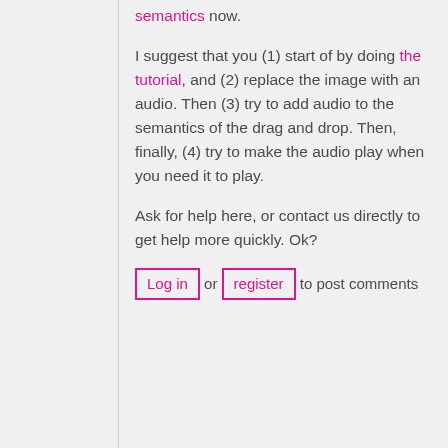semantics now.
I suggest that you (1) start of by doing the tutorial, and (2) replace the image with an audio. Then (3) try to add audio to the semantics of the drag and drop. Then, finally, (4) try to make the audio play when you need it to play.
Ask for help here, or contact us directly to get help more quickly. Ok?
Log in or register to post comments